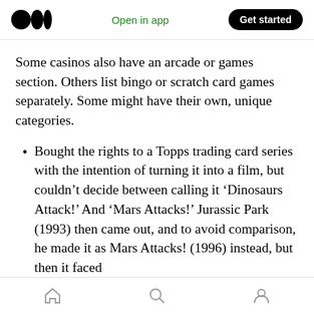Open in app  Get started
Some casinos also have an arcade or games section. Others list bingo or scratch card games separately. Some might have their own, unique categories.
Bought the rights to a Topps trading card series with the intention of turning it into a film, but couldn't decide between calling it 'Dinosaurs Attack!' And 'Mars Attacks!' Jurassic Park (1993) then came out, and to avoid comparison, he made it as Mars Attacks! (1996) instead, but then it faced
Home  Search  Profile